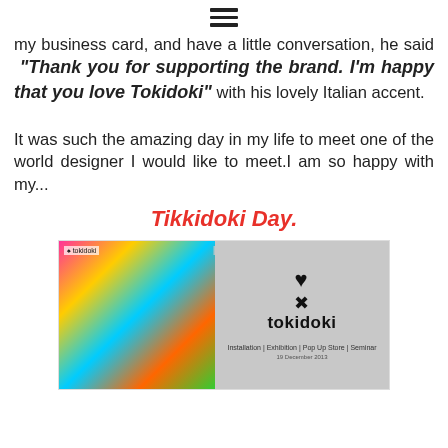[Figure (other): Hamburger menu icon (three horizontal lines)]
my business card, and have a little conversation, he said "Thank you for supporting the brand. I'm happy that you love Tokidoki" with his lovely Italian accent.

It was such the amazing day in my life to meet one of the world designer I would like to meet.I am so happy with my...
Tikkidoki Day.
[Figure (photo): Tokidoki branded event image showing colorful illustrated characters on the left panel and the tokidoki logo (heart and crossbones icon with 'tokidoki' text) on a grey right panel, with event details text below the logo: Installation | Exhibition | Pop Up Store | Seminar]